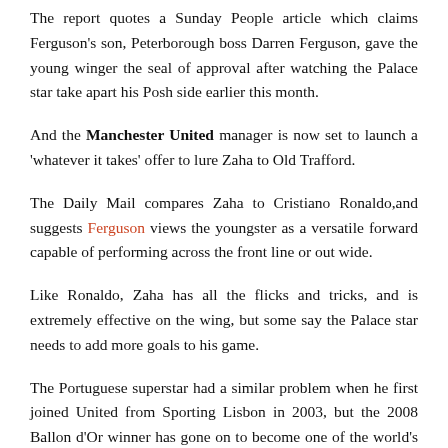The report quotes a Sunday People article which claims Ferguson's son, Peterborough boss Darren Ferguson, gave the young winger the seal of approval after watching the Palace star take apart his Posh side earlier this month.
And the Manchester United manager is now set to launch a 'whatever it takes' offer to lure Zaha to Old Trafford.
The Daily Mail compares Zaha to Cristiano Ronaldo,and suggests Ferguson views the youngster as a versatile forward capable of performing across the front line or out wide.
Like Ronaldo, Zaha has all the flicks and tricks, and is extremely effective on the wing, but some say the Palace star needs to add more goals to his game.
The Portuguese superstar had a similar problem when he first joined United from Sporting Lisbon in 2003, but the 2008 Ballon d'Or winner has gone on to become one of the world's finest finishers.